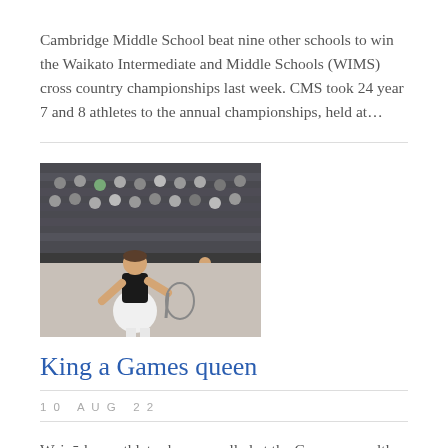Cambridge Middle School beat nine other schools to win the Waikato Intermediate and Middle Schools (WIMS) cross country championships last week. CMS took 24 year 7 and 8 athletes to the annual championships, held at...
[Figure (photo): A female squash player in a black top and white skirt holding a racquet, with a crowd of spectators in the background]
King a Games queen
10 AUG 22
Waipā-born athletes have excelled at the Commonwealth Games in Birmingham. Cambridge squash queen Joelle King picked up two gold medals in Birmingham this week to take her career medal tally from four Commonwealth Games to...